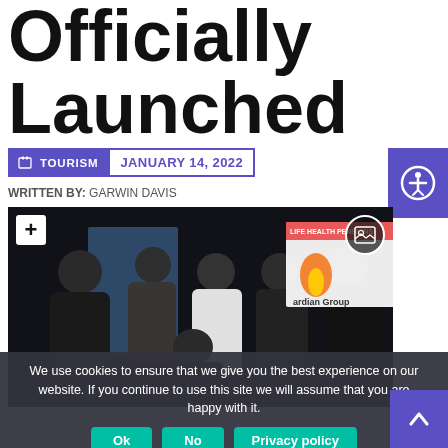Officially Launched
TOURISM   JANUARY 14, 2022
WRITTEN BY: GARWIN DAVIS
[Figure (photo): Group of people wearing face masks at an official launch event, with Guardian Group banner visible in background]
We use cookies to ensure that we give you the best experience on our website. If you continue to use this site we will assume that you are happy with it.